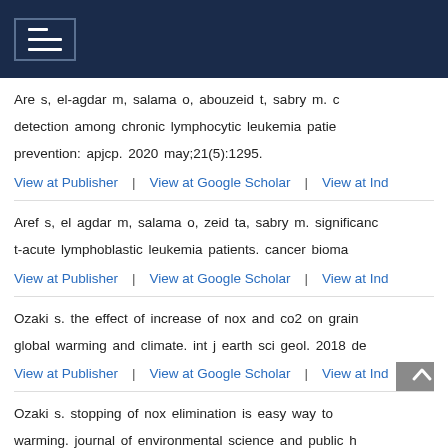Navigation menu header
Are s, el-agdar m, salama o, abouzeid t, sabry m. detection among chronic lymphocytic leukemia patients prevention: apjcp. 2020 may;21(5):1295.
View at Publisher | View at Google Scholar | View at Indi
Aref s, el agdar m, salama o, zeid ta, sabry m. significance t-acute lymphoblastic leukemia patients. cancer bioma
View at Publisher | View at Google Scholar | View at Indi
Ozaki s. the effect of increase of nox and co2 on grain global warming and climate. int j earth sci geol. 2018 de
View at Publisher | View at Google Scholar | View at Indi
Ozaki s. stopping of nox elimination is easy way to warming. journal of environmental science and public h